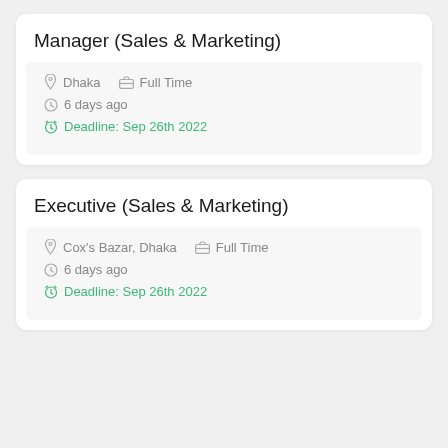Manager (Sales & Marketing)
Dhaka   Full Time
6 days ago
Deadline: Sep 26th 2022
Executive (Sales & Marketing)
Cox's Bazar, Dhaka   Full Time
6 days ago
Deadline: Sep 26th 2022